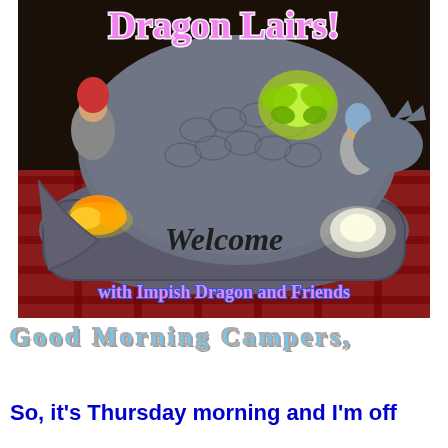[Figure (photo): Photo of a dragon garden sculpture/welcome stone with gnome figurines and glowing LED lights, sitting on a plaid/checkered fabric. The stone base reads 'Welcome' in cursive. A yellow-green butterfly glow and orange flower accent are visible. Text overlay at top reads 'Dragon Lairs!' and at bottom reads 'with Impish Dragon and Friends'.]
Good Morning Campers,
So, it's Thursday morning and I'm off